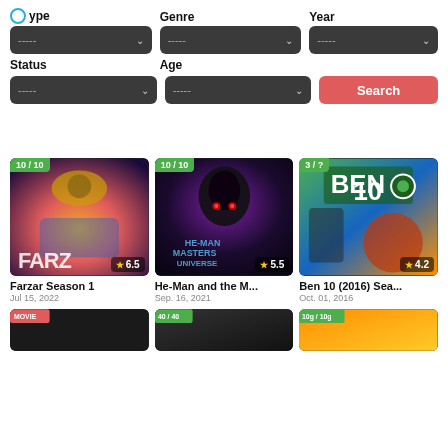Type
Genre
Year
Status
Age
[Figure (screenshot): Search button (red/salmon)]
[Figure (screenshot): Card: Farzar Season 1, rating badge 10/10 (green), star rating 6.5, date Jul 15, 2022]
[Figure (screenshot): Card: He-Man and the M..., rating badge 10/10 (green), star rating 5.5, date Sep. 16, 2021]
[Figure (screenshot): Card: Ben 10 (2016) Sea..., rating badge 3/? (green), star rating 4.2, date Oct. 01, 2016]
Farzar Season 1
Jul 15, 2022
He-Man and the M...
Sep. 16, 2021
Ben 10 (2016) Sea...
Oct. 01, 2016
[Figure (screenshot): Bottom card partial: MOVIE badge (red)]
[Figure (screenshot): Bottom card partial: 40/40 badge (green)]
[Figure (screenshot): Bottom card partial: 10g/10g badge (green)]